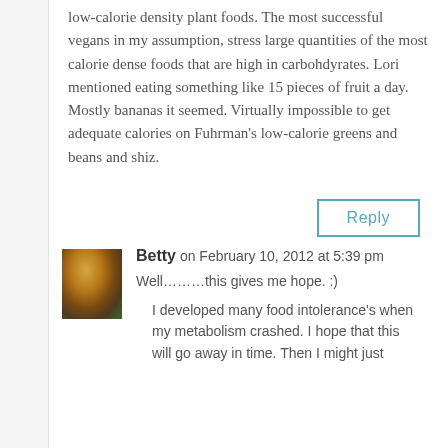low-calorie density plant foods. The most successful vegans in my assumption, stress large quantities of the most calorie dense foods that are high in carbohdyrates. Lori mentioned eating something like 15 pieces of fruit a day. Mostly bananas it seemed. Virtually impossible to get adequate calories on Fuhrman's low-calorie greens and beans and shiz.
Reply
Betty on February 10, 2012 at 5:39 pm
Well………this gives me hope. :)
I developed many food intolerance's when my metabolism crashed. I hope that this will go away in time. Then I might just